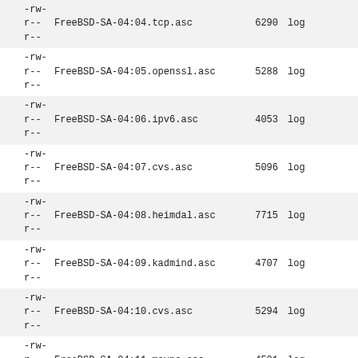-rw-r--r--  FreeBSD-SA-04:04.tcp.asc  6290  log
-rw-r--r--  FreeBSD-SA-04:05.openssl.asc  5288  log
-rw-r--r--  FreeBSD-SA-04:06.ipv6.asc  4053  log
-rw-r--r--  FreeBSD-SA-04:07.cvs.asc  5096  log
-rw-r--r--  FreeBSD-SA-04:08.heimdal.asc  7715  log
-rw-r--r--  FreeBSD-SA-04:09.kadmind.asc  4707  log
-rw-r--r--  FreeBSD-SA-04:10.cvs.asc  5294  log
-rw-r--r--  FreeBSD-SA-04:11.msync.asc  4501  log
-rw-r--r--  FreeBSD-SA-04:12.jailroute.asc  3919  log
-rw-